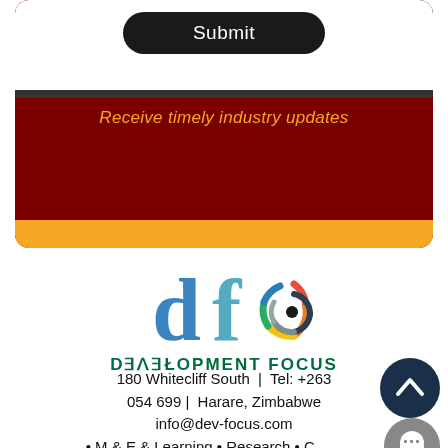[Figure (screenshot): Submit button inside white card at top]
Receive timely industry updates
[Figure (screenshot): Subscribe button on dark red background]
[Figure (logo): Development Focus logo with 'df' letters and colorful spiral icon]
DEVELOPMENT FOCUS
180 Whitecliff South  |  Tel: +263 054 699  |  Harare, Zimbabwe
info@dev-focus.com
• M & E & Learning • Research • Capacity Building • Digital Media Support